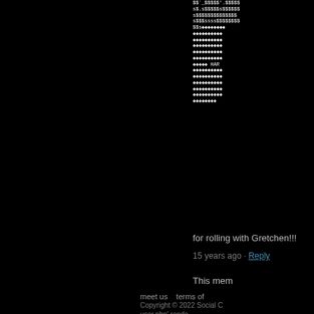[Figure (illustration): ASCII art / unicode pattern art on black background, partially visible on the right side, showing lines of dollar signs and diamond/card suit characters forming a decorative pattern. Text 'HAR' visible within the pattern.]
for rolling with Gretchen!!!
15 years ago · Reply
This mem
meet us   terms of
Copyright © 2022 Social C
user.php' rende